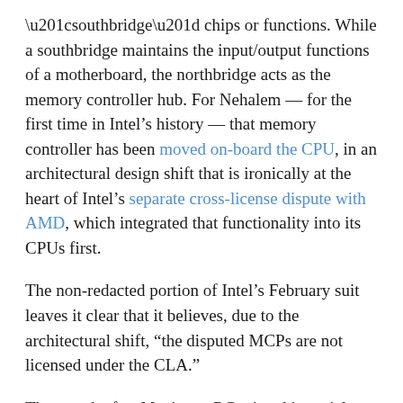“southbridge” chips or functions. While a southbridge maintains the input/output functions of a motherboard, the northbridge acts as the memory controller hub. For Nehalem — for the first time in Intel’s history — that memory controller has been moved on-board the CPU, in an architectural design shift that is ironically at the heart of Intel’s separate cross-license dispute with AMD, which integrated that functionality into its CPUs first.
The non-redacted portion of Intel’s February suit leaves it clear that it believes, due to the architectural shift, “the disputed MCPs are not licensed under the CLA.”
The month after Maximum PC printed its article, Intel claims, its attorneys sent a formal letter to Nvidia asking it “to cease making false and misleading statements concerning its purported rights under the